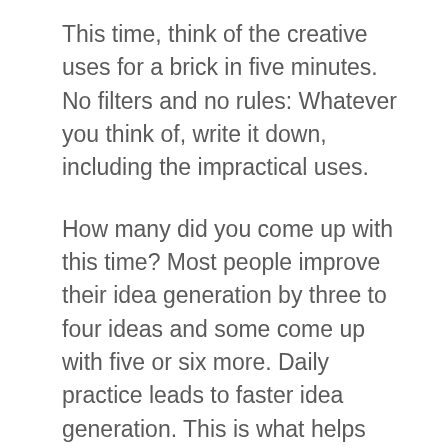This time, think of the creative uses for a brick in five minutes. No filters and no rules: Whatever you think of, write it down, including the impractical uses.
How many did you come up with this time? Most people improve their idea generation by three to four ideas and some come up with five or six more. Daily practice leads to faster idea generation. This is what helps you to generate ideas faster. It requires practice but removing that mental filter will have you designing funnier and more interesting juggling tricks. When you first generate juggling ideas, do not worry about what is possible and what is not. You push the